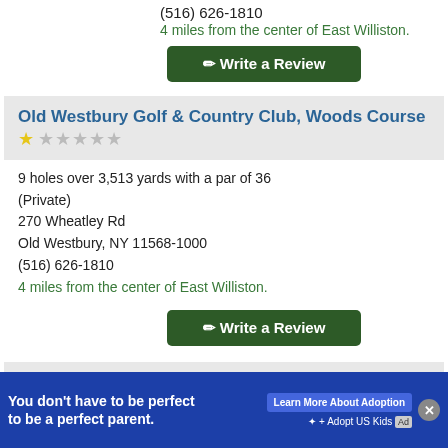(516) 626-1810
4 miles from the center of East Williston.
✎ Write a Review
Old Westbury Golf & Country Club, Woods Course ★☆☆☆☆
9 holes over 3,513 yards with a par of 36 (Private)
270 Wheatley Rd
Old Westbury, NY 11568-1000
(516) 626-1810
4 miles from the center of East Williston.
✎ Write a Review
North Hempstead Country Club, North Hempstead Course ★☆☆☆☆
18 holes over 6,293 yards with a par of 70
You don't have to be perfect to be a perfect parent. Learn More About Adoption | ✦ Adopt US Kids